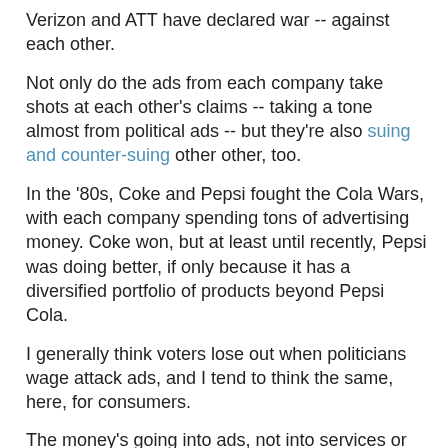Verizon and ATT have declared war -- against each other.
Not only do the ads from each company take shots at each other's claims -- taking a tone almost from political ads -- but they're also suing and counter-suing other other, too.
In the '80s, Coke and Pepsi fought the Cola Wars, with each company spending tons of advertising money. Coke won, but at least until recently, Pepsi was doing better, if only because it has a diversified portfolio of products beyond Pepsi Cola.
I generally think voters lose out when politicians wage attack ads, and I tend to think the same, here, for consumers.
The money's going into ads, not into services or lower fees or anything else that really helps consumers. Instead, while making claims and counter-claims, Verizon and ATT are trying to attract customers basically on the message that "We're not them," with the underlying message of "help us beat the competition."